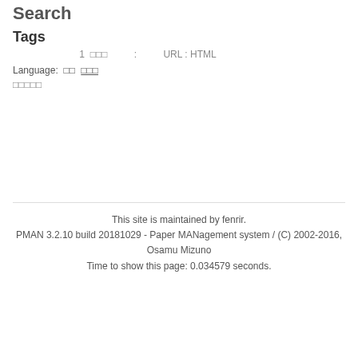Search
Tags
1 □□□ : URL : HTML
Language: □□ □□□
□□□□□
This site is maintained by fenrir.
PMAN 3.2.10 build 20181029 - Paper MANagement system / (C) 2002-2016, Osamu Mizuno
Time to show this page: 0.034579 seconds.